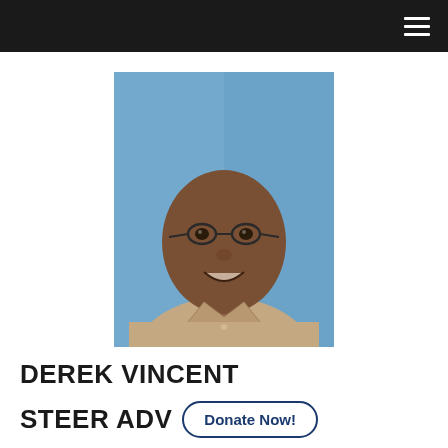Navigation bar with hamburger menu
[Figure (photo): Headshot of Derek Vincent, a man wearing glasses and a tan/beige button-up shirt, photographed against a blue background. He is smiling at the camera.]
DEREK VINCENT
STEER ADV
Donate Now!